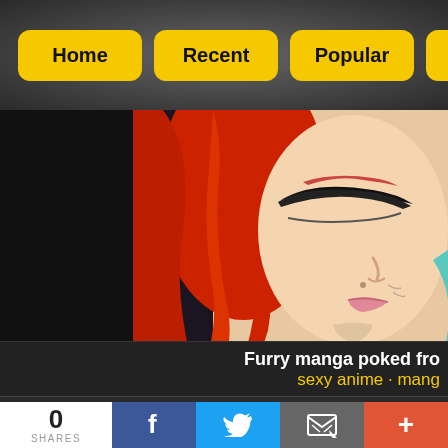Home | Recent | Popular | Longest
[Figure (illustration): Close-up anime/manga style illustration of a red-haired female character with eyes closed, pale skin, wearing white clothing with blue trim, dark background on left side]
Furry manga poked fro
sexy anime · mang
0 SHARES